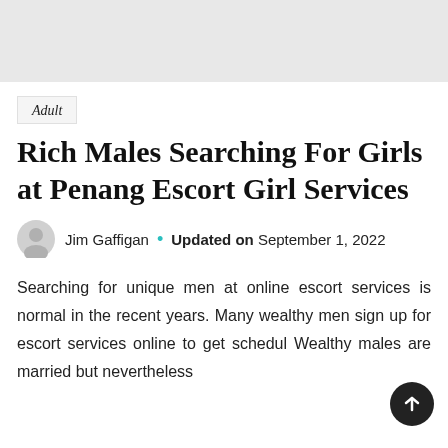[Figure (other): Gray banner/placeholder image at the top of the page]
Adult
Rich Males Searching For Girls at Penang Escort Girl Services
Jim Gaffigan • Updated on September 1, 2022
Searching for unique men at online escort services is normal in the recent years. Many wealthy men sign up for escort services online to get schedul Wealthy males are married but nevertheless